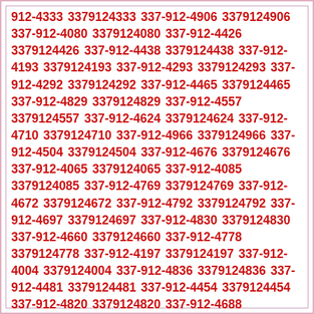912-4333 3379124333 337-912-4906 3379124906 337-912-4080 3379124080 337-912-4426 3379124426 337-912-4438 3379124438 337-912-4193 3379124193 337-912-4293 3379124293 337-912-4292 3379124292 337-912-4465 3379124465 337-912-4829 3379124829 337-912-4557 3379124557 337-912-4624 3379124624 337-912-4710 3379124710 337-912-4966 3379124966 337-912-4504 3379124504 337-912-4676 3379124676 337-912-4065 3379124065 337-912-4085 3379124085 337-912-4769 3379124769 337-912-4672 3379124672 337-912-4792 3379124792 337-912-4697 3379124697 337-912-4830 3379124830 337-912-4660 3379124660 337-912-4778 3379124778 337-912-4197 3379124197 337-912-4004 3379124004 337-912-4836 3379124836 337-912-4481 3379124481 337-912-4454 3379124454 337-912-4820 3379124820 337-912-4688 3379124688 337-912-4747 3379124747 337-912-4917 3379124917 337-912-4224